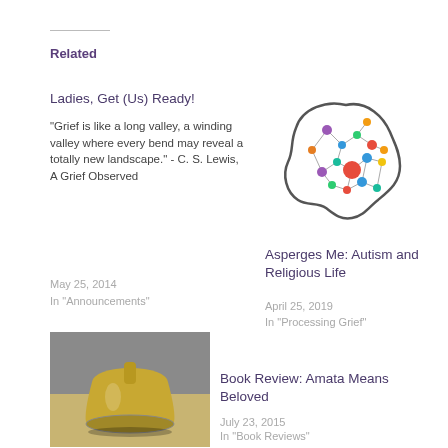Related
Ladies, Get (Us) Ready!
"Grief is like a long valley, a winding valley where every bend may reveal a totally new landscape." - C. S. Lewis, A Grief Observed
May 25, 2014
In "Announcements"
[Figure (illustration): Colorful network diagram in the shape of a brain with nodes connected by lines]
Asperges Me: Autism and Religious Life
April 25, 2019
In "Processing Grief"
[Figure (photo): A brass/gold bell photographed on a wooden surface]
Book Review: Amata Means Beloved
July 23, 2015
In "Book Reviews"